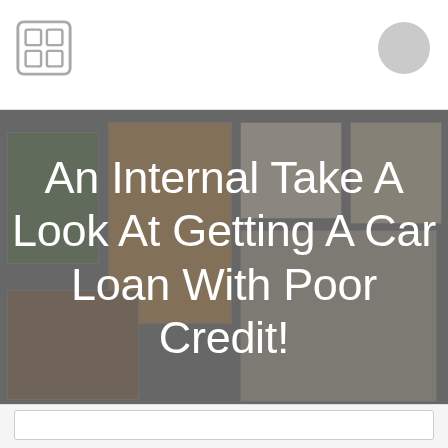[Figure (photo): Interior design collage showing a monstera plant, a wooden wishbone chair, decorative rugs and room scenes, with a dark grey overlay. Title text overlaid reads: An Internal Take A Look At Getting A Car Loan With Poor Credit!]
An Internal Take A Look At Getting A Car Loan With Poor Credit!